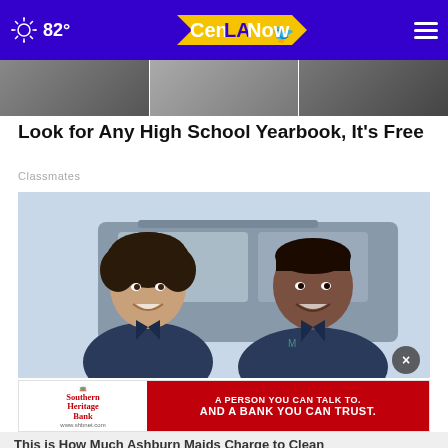82° CenLA Now
[Figure (photo): Partial top strip showing a dark/grayscale photograph, appears to be three panels of a cropped image]
Look for Any High School Yearbook, It's Free
Classmates
[Figure (photo): Two smiling women in dark polo shirts standing in front of a vehicle outdoors]
[Figure (screenshot): Advertisement for Southern Heritage Bank with text: A PERSON YOU CAN TALK TO. AND A BANK YOU CAN TRUST. www.shbnet.com]
This is How Much Ashburn Maids Charge to Clean